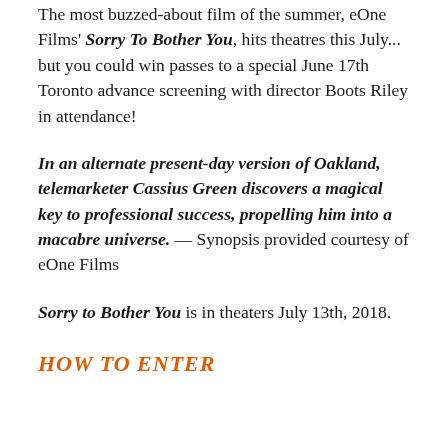The most buzzed-about film of the summer, eOne Films' Sorry To Bother You, hits theatres this July... but you could win passes to a special June 17th Toronto advance screening with director Boots Riley in attendance!
In an alternate present-day version of Oakland, telemarketer Cassius Green discovers a magical key to professional success, propelling him into a macabre universe. — Synopsis provided courtesy of eOne Films
Sorry to Bother You is in theaters July 13th, 2018.
HOW TO ENTER